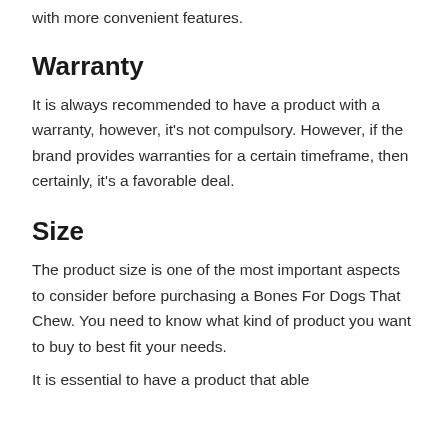with more convenient features.
Warranty
It is always recommended to have a product with a warranty, however, it's not compulsory. However, if the brand provides warranties for a certain timeframe, then certainly, it's a favorable deal.
Size
The product size is one of the most important aspects to consider before purchasing a Bones For Dogs That Chew. You need to know what kind of product you want to buy to best fit your needs.
It is essential to have a product that able